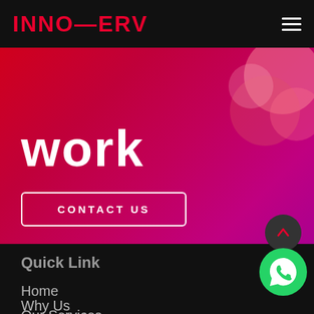INNOSERV
[Figure (illustration): Hero banner with gradient background (red to magenta) showing the word 'work' in large white bold text, decorative pink circles top-right, and a CONTACT US button]
Quick Link
Home
Our Services
Why Us